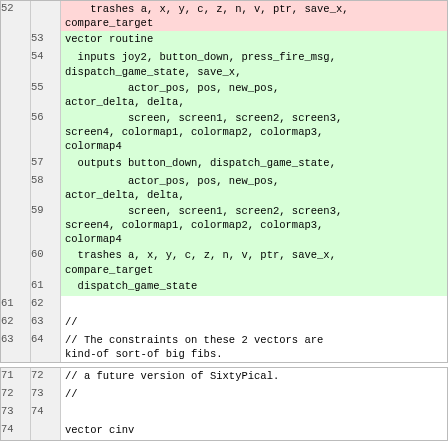[Figure (screenshot): Code diff view showing two blocks of code changes. First block shows lines 52-64 with red (removed) and green (added) highlighted sections showing vector routine definitions. Second block shows lines 71-74 with white background showing comments and vector declaration.]